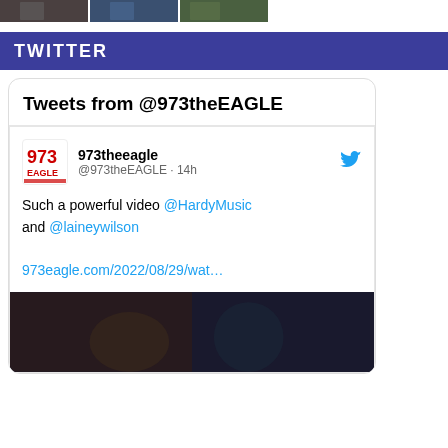[Figure (photo): Three small photo thumbnails in a row at the top of the page]
TWITTER
Tweets from @973theEAGLE
973theeagle @973theEAGLE · 14h
Such a powerful video @HardyMusic and @laineywilson

973eagle.com/2022/08/29/wat…
[Figure (photo): Dark video thumbnail preview image at the bottom of the tweet card]